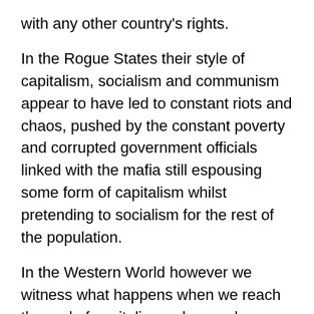with any other country's rights.
In the Rogue States their style of capitalism, socialism and communism appear to have led to constant riots and chaos, pushed by the constant poverty and corrupted government officials linked with the mafia still espousing some form of capitalism whilst pretending to socialism for the rest of the population.
In the Western World however we witness what happens when we reach the end of capitalism, where only a handful of people in the world own all the money and assets of the rest of the population and capitalism only works for those trillionaires. An economic meltdown followed by riots also erupted everywhere due to poverty and the end of the American dream, prompting those trillionaires to pay the entire debt of all these countries for a price: the